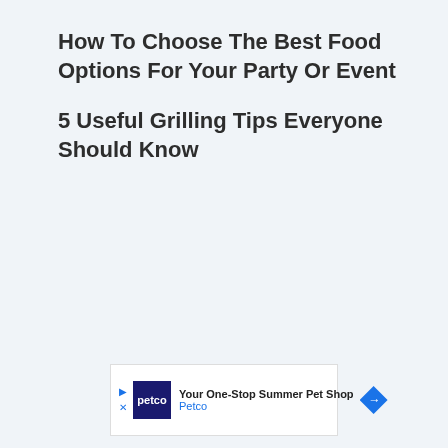How To Choose The Best Food Options For Your Party Or Event
5 Useful Grilling Tips Everyone Should Know
[Figure (other): Advertisement banner for Petco: 'Your One-Stop Summer Pet Shop' with Petco logo and navigation arrow]